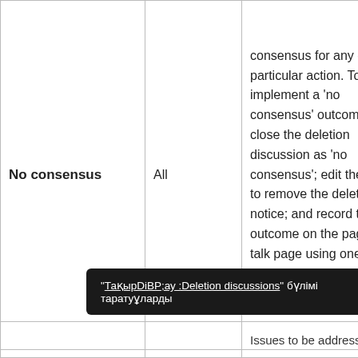|  |  |  |
| --- | --- | --- |
| No consensus | All | consensus for any one particular action. To implement a 'no consensus' outcome: close the deletion discussion as 'no consensus'; edit the page to remove the deletion notice; and record the outcome on the page's talk page using one of several venue-specific templates (see 'Step-by-... |
|  |  | Issues to be addressed |
"[link]:Deletion discussions" [text] [text]